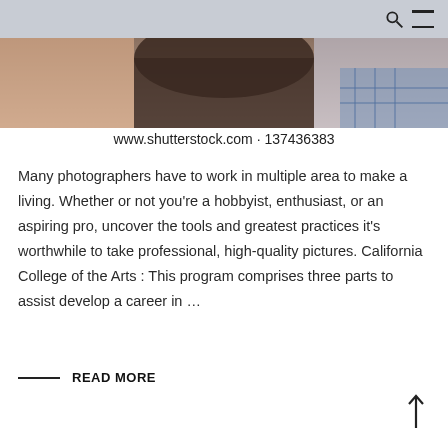[Figure (photo): Partial view of a person with dark hair, wearing a plaid shirt, against a light background. Shutterstock watermark photo.]
www.shutterstock.com · 137436383
Many photographers have to work in multiple area to make a living. Whether or not you're a hobbyist, enthusiast, or an aspiring pro, uncover the tools and greatest practices it's worthwhile to take professional, high-quality pictures. California College of the Arts : This program comprises three parts to assist develop a career in …
READ MORE